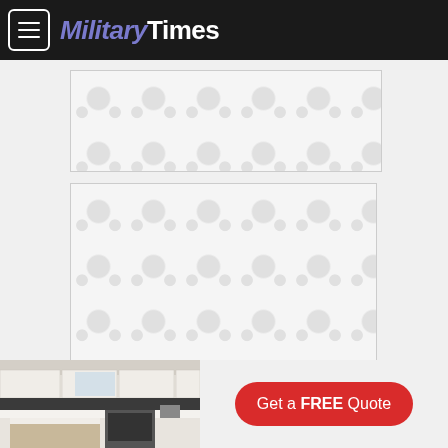MilitaryTimes
[Figure (other): Advertisement placeholder with decorative dot/dumbbell pattern — top banner ad]
[Figure (other): Advertisement placeholder with decorative dot/dumbbell pattern — large rectangle ad]
[Figure (other): Bottom banner advertisement showing a kitchen photo on the left and a red 'Get a FREE Quote' call-to-action button on the right]